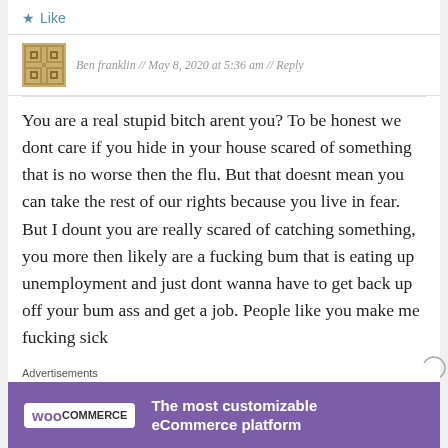★ Like
Ben franklin // May 8, 2020 at 5:36 am // Reply
You are a real stupid bitch arent you? To be honest we dont care if you hide in your house scared of something that is no worse then the flu. But that doesnt mean you can take the rest of our rights because you live in fear. But I dount you are really scared of catching something, you more then likely are a fucking bum that is eating up unemployment and just dont wanna have to get back up off your bum ass and get a job. People like you make me fucking sick
Advertisements
[Figure (other): WooCommerce advertisement banner: purple background with WooCommerce logo and text 'The most customizable eCommerce platform']